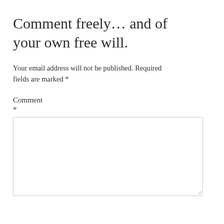Comment freely… and of your own free will.
Your email address will not be published. Required fields are marked *
Comment
*